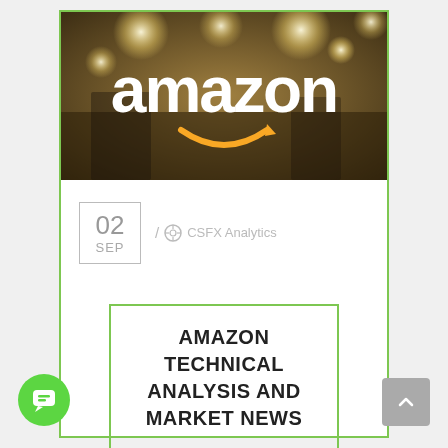[Figure (photo): Amazon store photo showing the Amazon logo with bokeh lights in the background]
02
SEP
/ CSFX Analytics
AMAZON TECHNICAL ANALYSIS AND MARKET NEWS